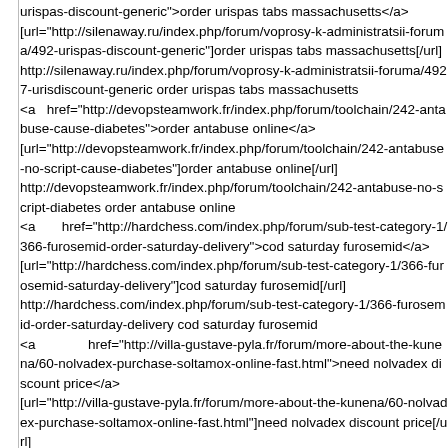urispas-discount-generic">order urispas tabs massachusetts</a>
[url="http://silenaway.ru/index.php/forum/voprosy-k-administratsii-foruma/492-urispas-discount-generic"]order urispas tabs massachusetts[/url]
http://silenaway.ru/index.php/forum/voprosy-k-administratsii-foruma/4927-urispas-discount-generic order urispas tabs massachusetts
<a   href="http://devopsteamwork.fr/index.php/forum/toolchain/242-antabuse-cause-diabetes">order antabuse online</a>
[url="http://devopsteamwork.fr/index.php/forum/toolchain/242-antabuse-no-script-cause-diabetes"]order antabuse online[/url]
http://devopsteamwork.fr/index.php/forum/toolchain/242-antabuse-no-script-diabetes order antabuse online
<a      href="http://hardchess.com/index.php/forum/sub-test-category-1/366-furosemid-order-saturday-delivery">cod saturday furosemid</a>
[url="http://hardchess.com/index.php/forum/sub-test-category-1/366-furosemid-saturday-delivery"]cod saturday furosemid[/url]
http://hardchess.com/index.php/forum/sub-test-category-1/366-furosemid-order-saturday-delivery cod saturday furosemid
<a            href="http://villa-gustave-pyla.fr/forum/more-about-the-kunena/60-nolvadex-purchase-soltamox-online-fast.html">need nolvadex discount price</a>
[url="http://villa-gustave-pyla.fr/forum/more-about-the-kunena/60-nolvadex-purchase-soltamox-online-fast.html"]need nolvadex discount price[/url]
http://villa-gustave-pyla.fr/forum/more-about-the-kunena/60-nolvadex-purchase-soltamox-online-fast.html need nolvadex discount price
<a      href="http://416drinks.com/index.php/forum/ideal-forum/534-indinavir-overnight-delivery">indinavir usa canadian pharmacy buy</a>
[url="http://416drinks.com/index.php/forum/ideal-forum/534-indinavir-discount-